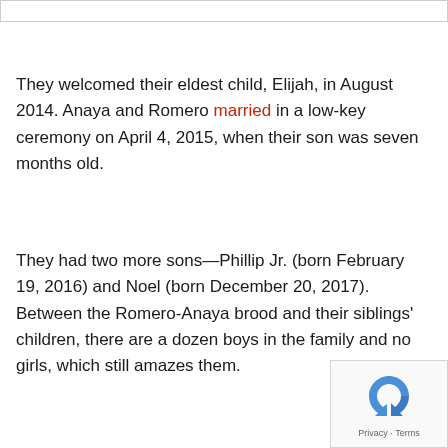They welcomed their eldest child, Elijah, in August 2014. Anaya and Romero married in a low-key ceremony on April 4, 2015, when their son was seven months old.
They had two more sons—Phillip Jr. (born February 19, 2016) and Noel (born December 20, 2017). Between the Romero-Anaya brood and their siblings' children, there are a dozen boys in the family and no girls, which still amazes them.